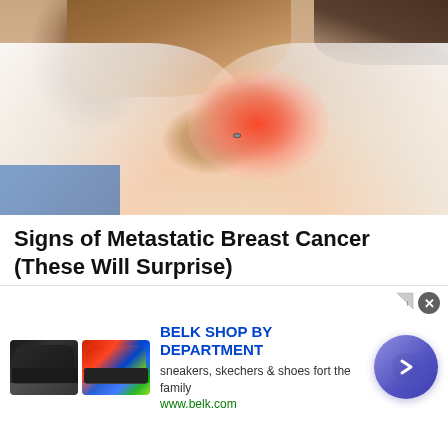[Figure (photo): Woman clutching her chest with both hands, showing pain/discomfort in breast area with a red/pink glow highlighting the painful region. She is wearing a white t-shirt and sitting on what appears to be a brown couch. She has long brown/auburn hair.]
Signs of Metastatic Breast Cancer (These Will Surprise)
Breast Cancer | Sponsored
Click Here
[Figure (photo): Partial view of what appears to be an indoor room with ceiling tiles visible, and a cardboard box on the right side. This is the top portion of a second advertisement card that is partially cut off.]
[Figure (screenshot): Overlay advertisement for Belk Shop by Department showing two sneakers (one black, one multicolored), text reading 'BELK SHOP BY DEPARTMENT', 'sneakers, skechers & shoes fort the family', 'www.belk.com', and a purple circular button with a right arrow chevron.]
BELK SHOP BY DEPARTMENT
sneakers, skechers & shoes fort the family
www.belk.com